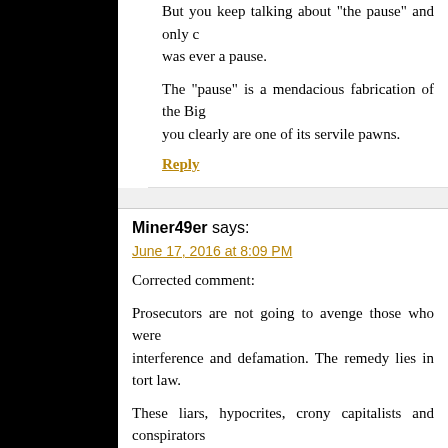But you keep talking about “the pause” and only c[laim] was ever a pause.
The “pause” is a mendacious fabrication of the Big [Oil lobby;] you clearly are one of its servile pawns.
Reply
Miner49er says:
June 17, 2016 at 8:09 PM
Corrected comment:
Prosecutors are not going to avenge those who were [harmed by] interference and defamation. The remedy lies in tort law.
These liars, hypocrites, crony capitalists and conspirators [are liable for] triple damages. The causes of action are defamation, [tortious] interference with contracts, interference, and conspiracy to [deprive of] constitutional rights.